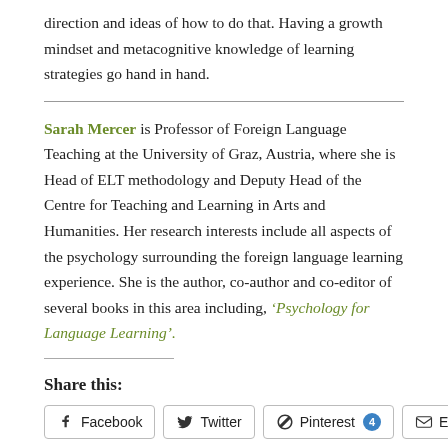direction and ideas of how to do that. Having a growth mindset and metacognitive knowledge of learning strategies go hand in hand.
Sarah Mercer is Professor of Foreign Language Teaching at the University of Graz, Austria, where she is Head of ELT methodology and Deputy Head of the Centre for Teaching and Learning in Arts and Humanities. Her research interests include all aspects of the psychology surrounding the foreign language learning experience. She is the author, co-author and co-editor of several books in this area including, ‘Psychology for Language Learning’.
Share this:
Facebook | Twitter | Pinterest 4 | Email
More